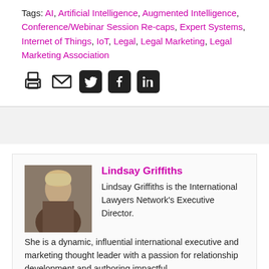Tags: AI, Artificial Intelligence, Augmented Intelligence, Conference/Webinar Session Re-caps, Expert Systems, Internet of Things, IoT, Legal, Legal Marketing, Legal Marketing Association
[Figure (other): Social sharing icons: print, email, Twitter, Facebook, LinkedIn]
[Figure (photo): Author photo of Lindsay Griffiths]
Lindsay Griffiths
Lindsay Griffiths is the International Lawyers Network's Executive Director. She is a dynamic, influential international executive and marketing thought leader with a passion for relationship development and authoring impactful